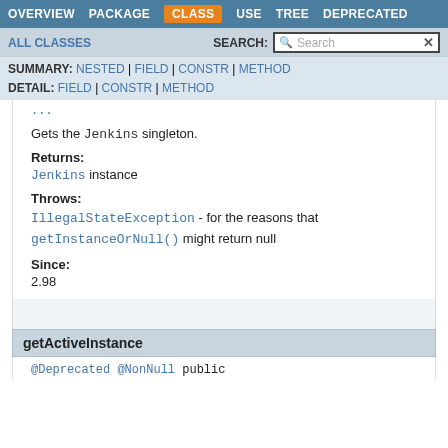OVERVIEW  PACKAGE  CLASS  USE  TREE  DEPRECATED
ALL CLASSES   SEARCH:  [Search]
SUMMARY: NESTED | FIELD | CONSTR | METHOD
DETAIL: FIELD | CONSTR | METHOD
Gets the Jenkins singleton.
Returns:
Jenkins instance
Throws:
IllegalStateException - for the reasons that getInstanceOrNull() might return null
Since:
2.98
getActiveInstance
@Deprecated @NonNull public